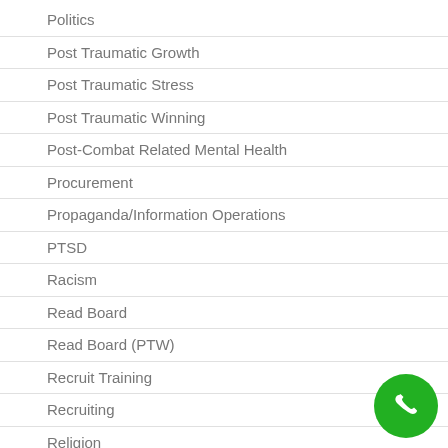Politics
Post Traumatic Growth
Post Traumatic Stress
Post Traumatic Winning
Post-Combat Related Mental Health
Procurement
Propaganda/Information Operations
PTSD
Racism
Read Board
Read Board (PTW)
Recruit Training
Recruiting
Religion
Reunions
[Figure (illustration): Green circular phone/call button icon in the bottom-right corner]